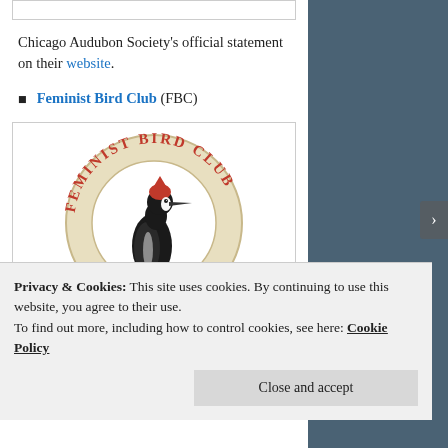[Figure (other): Top image placeholder box (partially visible, cropped)]
Chicago Audubon Society's official statement on their website.
Feminist Bird Club (FBC)
[Figure (logo): Feminist Bird Club circular logo featuring a woodpecker with a red cap, surrounded by the text 'FEMINIST BIRD CLUB' in red lettering on a cream/beige background]
Privacy & Cookies: This site uses cookies. By continuing to use this website, you agree to their use.
To find out more, including how to control cookies, see here: Cookie Policy
Close and accept